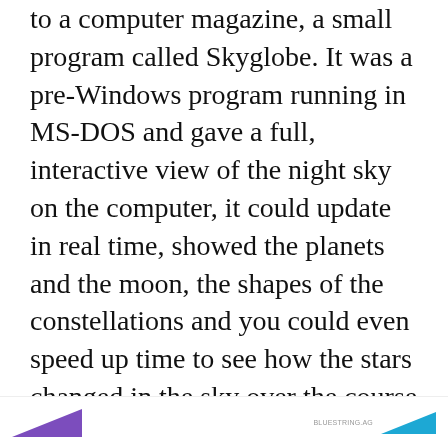to a computer magazine, a small program called Skyglobe. It was a pre-Windows program running in MS-DOS and gave a full, interactive view of the night sky on the computer, it could update in real time, showed the planets and the moon, the shapes of the constellations and you could even speed up time to see how the stars changed in the sky over the course of the year, all thanks to the wholly
Privacy & Cookies: This site uses cookies. By continuing to use this website, you agree to their use.
To find out more, including how to control cookies, see here: Cookie Policy
Close and accept